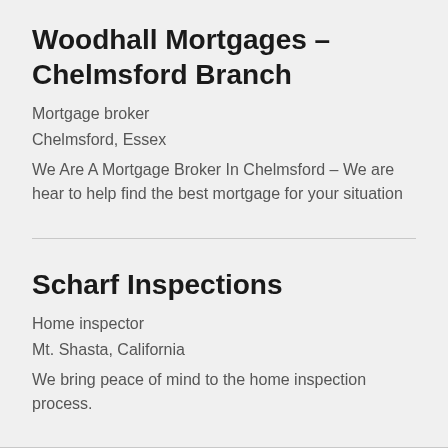Woodhall Mortgages – Chelmsford Branch
Mortgage broker
Chelmsford, Essex
We Are A Mortgage Broker In Chelmsford – We are hear to help find the best mortgage for your situation
Scharf Inspections
Home inspector
Mt. Shasta, California
We bring peace of mind to the home inspection process.